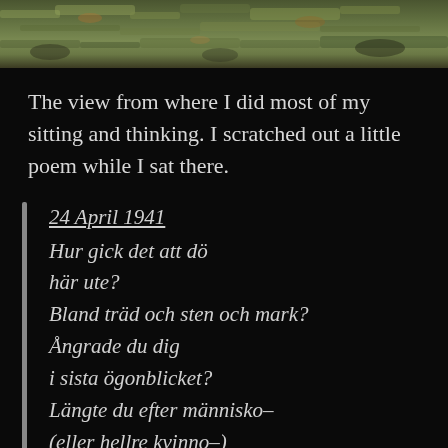[Figure (photo): Landscape photo showing ground vegetation, grasses and rocks from above, partially cropped at top of page]
The view from where I did most of my sitting and thinking. I scratched out a little poem while I sat there.
24 April 1941
Hur gick det att dö
här ute?
Bland träd och sten och mark?
Ångrade du dig
i sista ögonblicket?
Längte du efter människo–
(eller hellre kvinno–)
värme?
Hittade du en fördröjd spår av